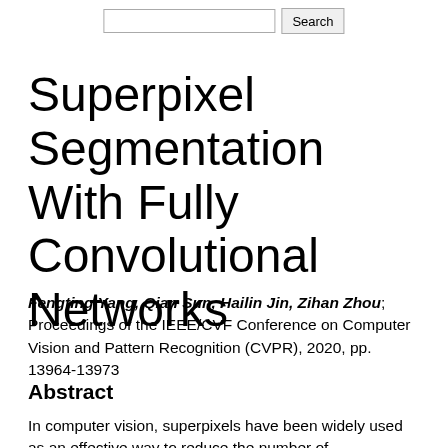Search
Superpixel Segmentation With Fully Convolutional Networks
Fengting Yang, Qian Sun, Hailin Jin, Zihan Zhou; Proceedings of the IEEE/CVF Conference on Computer Vision and Pattern Recognition (CVPR), 2020, pp. 13964-13973
Abstract
In computer vision, superpixels have been widely used as an effective way to reduce the number of